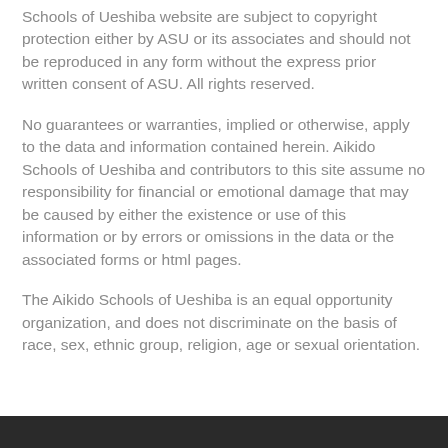Schools of Ueshiba website are subject to copyright protection either by ASU or its associates and should not be reproduced in any form without the express prior written consent of ASU. All rights reserved.
No guarantees or warranties, implied or otherwise, apply to the data and information contained herein. Aikido Schools of Ueshiba and contributors to this site assume no responsibility for financial or emotional damage that may be caused by either the existence or use of this information or by errors or omissions in the data or the associated forms or html pages.
The Aikido Schools of Ueshiba is an equal opportunity organization, and does not discriminate on the basis of race, sex, ethnic group, religion, age or sexual orientation.